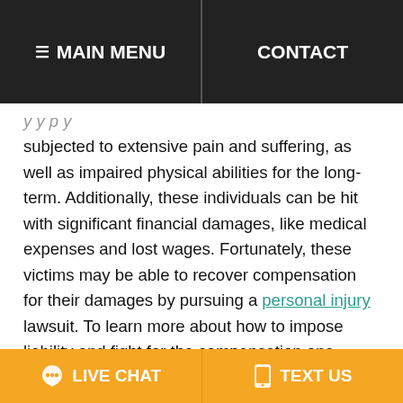≡ MAIN MENU   CONTACT
subjected to extensive pain and suffering, as well as impaired physical abilities for the long-term. Additionally, these individuals can be hit with significant financial damages, like medical expenses and lost wages. Fortunately, these victims may be able to recover compensation for their damages by pursuing a personal injury lawsuit. To learn more about how to impose liability and fight for the compensation one deserves.
[Figure (logo): Circular logo with a teal quill/feather icon on dark blue circle border]
[Figure (logo): BBB (Better Business Bureau) blue flame logo with text 'BBB Rating:']